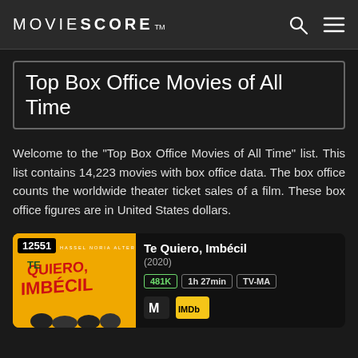MOVIESCORE™
Top Box Office Movies of All Time
Welcome to the "Top Box Office Movies of All Time" list. This list contains 14,223 movies with box office data. The box office counts the worldwide theater ticket sales of a film. These box office figures are in United States dollars.
[Figure (other): Movie card for Te Quiero, Imbécil (2020) showing rank 12551, tags 481K, 1h 27min, TV-MA, and icons for MovieScore and IMDb]